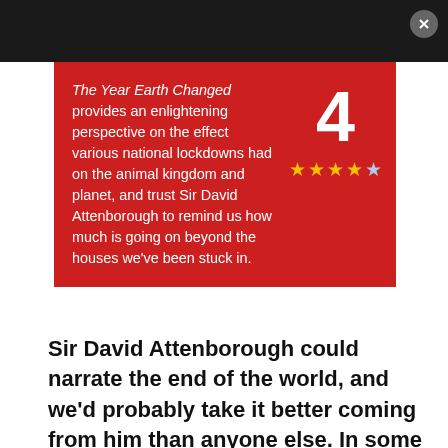The Year Earth Changed provides an enlightening perspective on the effect various national lockdowns had on the animal kingdom and planet, and trust Sir David Attenborough to remind us how much is going on beyond the houses we've been stuck in. [Rating: 4 out of 5 stars]
Sir David Attenborough could narrate the end of the world, and we'd probably take it better coming from him than anyone else. In some ways he already has. Netflix's A Life On Our Planet had an obvious air of finality about it, but it was hard to tell at the time whether we were to fret about the death of the planet, the death of David Attenborough,